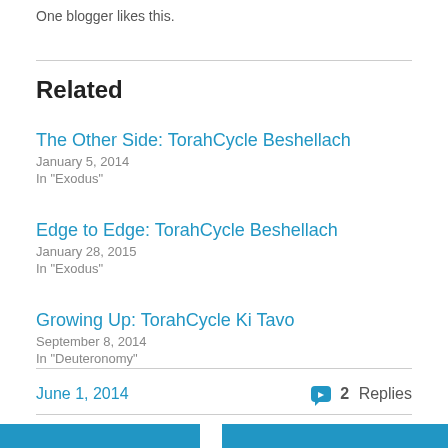One blogger likes this.
Related
The Other Side: TorahCycle Beshellach
January 5, 2014
In "Exodus"
Edge to Edge: TorahCycle Beshellach
January 28, 2015
In "Exodus"
Growing Up: TorahCycle Ki Tavo
September 8, 2014
In "Deuteronomy"
June 1, 2014
2 Replies